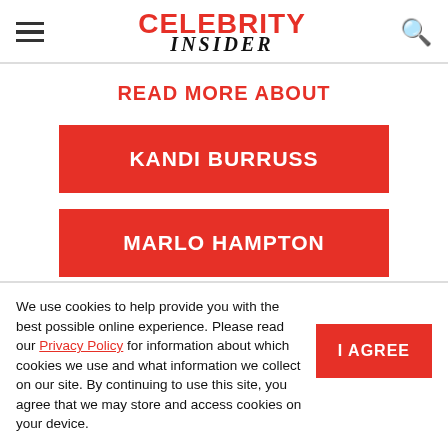Celebrity Insider
READ MORE ABOUT
KANDI BURRUSS
MARLO HAMPTON
Advertisement
We use cookies to help provide you with the best possible online experience. Please read our Privacy Policy for information about which cookies we use and what information we collect on our site. By continuing to use this site, you agree that we may store and access cookies on your device.
I AGREE